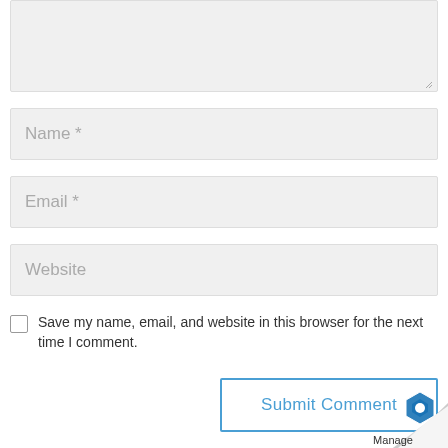[Figure (screenshot): Text area input box (empty, gray background) with resize handle at bottom-right corner]
Name *
Email *
Website
Save my name, email, and website in this browser for the next time I comment.
Submit Comment
[Figure (logo): Page curl effect at bottom-right corner with Manage Engine logo showing a blue hexagonal gear icon and the word Manage]